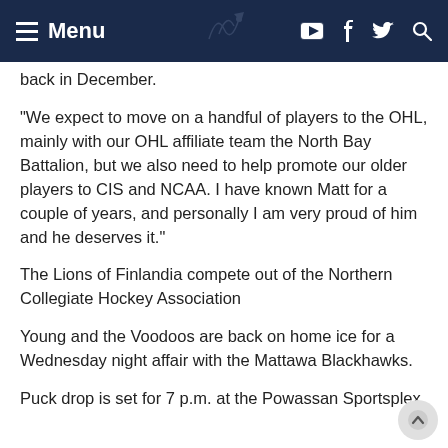Menu
back in December.
“We expect to move on a handful of players to the OHL, mainly with our OHL affiliate team the North Bay Battalion, but we also need to help promote our older players to CIS and NCAA.  I have known Matt for a couple of years, and personally I am very proud of him and he deserves it.”
The Lions of Finlandia compete out of the Northern Collegiate Hockey Association
Young and the Voodoos are back on home ice for a Wednesday night affair with the Mattawa Blackhawks.
Puck drop is set for 7 p.m. at the Powassan Sportsplex.